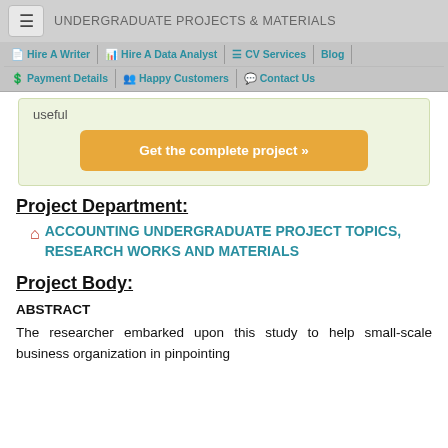UNDERGRADUATE PROJECTS & MATERIALS
Hire A Writer | Hire A Data Analyst | CV Services | Blog | Payment Details | Happy Customers | Contact Us
useful
Get the complete project »
Project Department:
ACCOUNTING UNDERGRADUATE PROJECT TOPICS, RESEARCH WORKS AND MATERIALS
Project Body:
ABSTRACT
The researcher embarked upon this study to help small-scale business organization in pinpointing